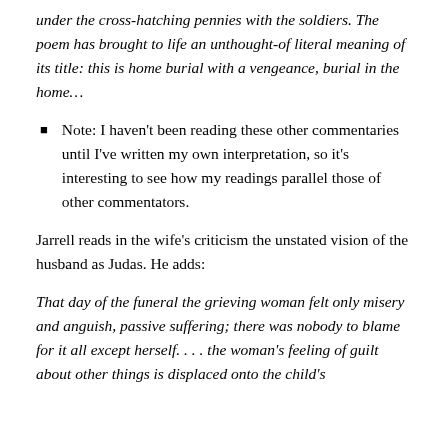under the cross-hatching pennies with the soldiers. The poem has brought to life an unthought-of literal meaning of its title: this is home burial with a vengeance, burial in the home…
Note: I haven't been reading these other commentaries until I've written my own interpretation, so it's interesting to see how my readings parallel those of other commentators.
Jarrell reads in the wife's criticism the unstated vision of the husband as Judas. He adds:
That day of the funeral the grieving woman felt only misery and anguish, passive suffering; there was nobody to blame for it all except herself. . . . the woman's feeling of guilt about other things is displaced onto the child's